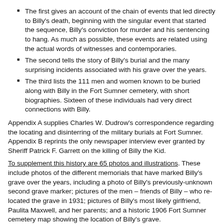The first gives an account of the chain of events that led directly to Billy's death, beginning with the singular event that started the sequence, Billy's conviction for murder and his sentencing to hang. As much as possible, these events are related using the actual words of witnesses and contemporaries.
The second tells the story of Billy's burial and the many surprising incidents associated with his grave over the years.
The third lists the 111 men and women known to be buried along with Billy in the Fort Sumner cemetery, with short biographies. Sixteen of these individuals had very direct connections with Billy.
Appendix A supplies Charles W. Dudrow's correspondence regarding the locating and disinterring of the military burials at Fort Sumner. Appendix B reprints the only newspaper interview ever granted by Sheriff Patrick F. Garrett on the killing of Billy the Kid.
To supplement this history are 65 photos and illustrations. These include photos of the different memorials that have marked Billy's grave over the years, including a photo of Billy's previously-unknown second grave marker; pictures of the men – friends of Billy – who re-located the grave in 1931; pictures of Billy's most likely girlfriend, Paulita Maxwell, and her parents; and a historic 1906 Fort Sumner cemetery map showing the location of Billy's grave.
154 pages, 66 images, paperback.
Video Description
Billy the Kid's Grave – Table of Contents
Billy the Kid's Grave – List of ...